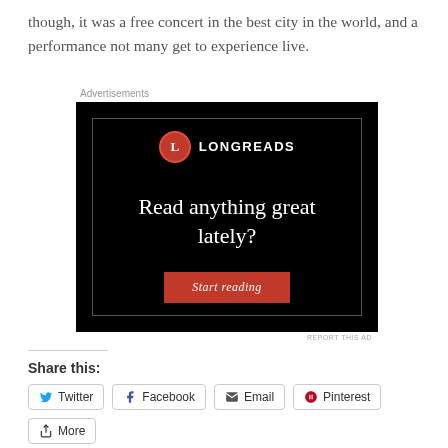though, it was a free concert in the best city in the world, and a performance not many get to experience live.
[Figure (advertisement): Longreads advertisement with black background showing 'Read anything great lately?' headline and 'Start reading' red button with Longreads logo]
Share this:
Twitter
Facebook
Email
Pinterest
More